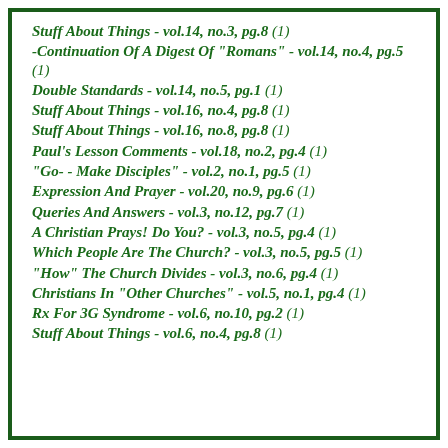Stuff About Things - vol.14, no.3, pg.8 (1)
-Continuation Of A Digest Of "Romans" - vol.14, no.4, pg.5 (1)
Double Standards - vol.14, no.5, pg.1 (1)
Stuff About Things - vol.16, no.4, pg.8 (1)
Stuff About Things - vol.16, no.8, pg.8 (1)
Paul's Lesson Comments - vol.18, no.2, pg.4 (1)
"Go- - Make Disciples" - vol.2, no.1, pg.5 (1)
Expression And Prayer - vol.20, no.9, pg.6 (1)
Queries And Answers - vol.3, no.12, pg.7 (1)
A Christian Prays! Do You? - vol.3, no.5, pg.4 (1)
Which People Are The Church? - vol.3, no.5, pg.5 (1)
"How" The Church Divides - vol.3, no.6, pg.4 (1)
Christians In "Other Churches" - vol.5, no.1, pg.4 (1)
Rx For 3G Syndrome - vol.6, no.10, pg.2 (1)
Stuff About Things - vol.6, no.4, pg.8 (1)